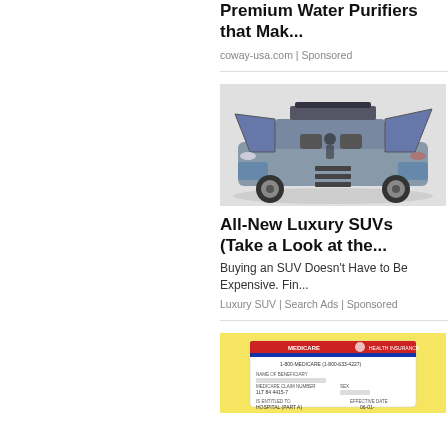Premium Water Purifiers that Mak...
coway-usa.com | Sponsored
[Figure (photo): Luxury SUV with gull-wing doors open, showing steps and interior seating]
All-New Luxury SUVs (Take a Look at the...
Buying an SUV Doesn't Have to Be Expensive. Fin...
Luxury SUV | Search Ads | Sponsored
[Figure (photo): Medicare Health Insurance card on yellow background]